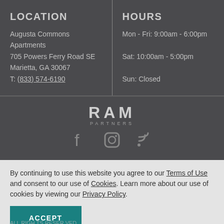LOCATION
Augusta Commons Apartments
705 Powers Ferry Road SE
Marietta, GA 30067
T: (833) 574-6190
HOURS
Mon - Fri: 9:00am - 6:00pm
Sat: 10:00am - 5:00pm
Sun: Closed
[Figure (logo): RAM Partners logo with social media icons (Facebook, Instagram, RSS feed)]
By continuing to use this website you agree to our Terms of Use and consent to our use of Cookies. Learn more about our use of cookies by viewing our Privacy Policy.
ACCEPT